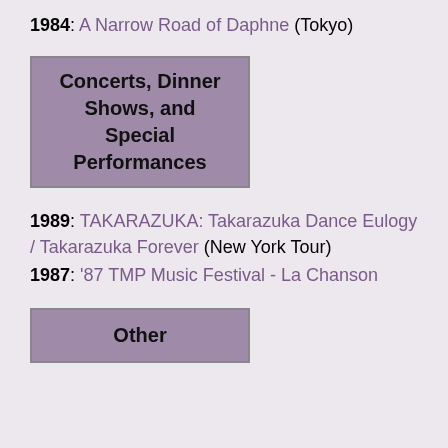1984: A Narrow Road of Daphne (Tokyo)
Concerts, Dinner Shows, and Special Performances
1989: TAKARAZUKA: Takarazuka Dance Eulogy / Takarazuka Forever (New York Tour)
1987: '87 TMP Music Festival - La Chanson
Other